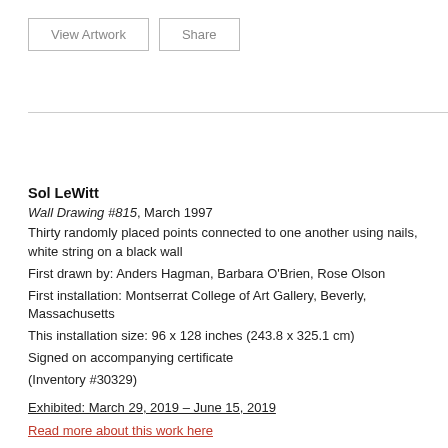View Artwork | Share
Sol LeWitt
Wall Drawing #815, March 1997
Thirty randomly placed points connected to one another using nails, white string on a black wall
First drawn by: Anders Hagman, Barbara O'Brien, Rose Olson
First installation: Montserrat College of Art Gallery, Beverly, Massachusetts
This installation size: 96 x 128 inches (243.8 x 325.1 cm)
Signed on accompanying certificate
(Inventory #30329)
Exhibited: March 29, 2019 – June 15, 2019
Read more about this work here